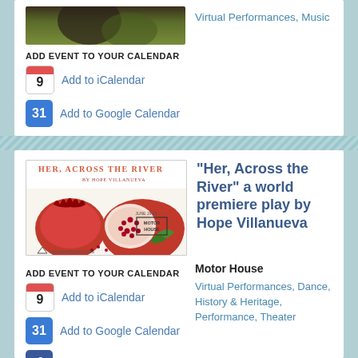[Figure (photo): Partial image of outdoor scene at top of first card]
Virtual Performances, Music
ADD EVENT TO YOUR CALENDAR
Add to iCalendar
Add to Google Calendar
[Figure (photo): Poster for 'Her, Across the River' by Hope Villanueva, featuring pomegranates, June 19-26, Motor House, www.rapidlemon.org]
"Her, Across the River" a world premiere play by Hope Villanueva
Motor House
Virtual Performances, Dance, History & Heritage, Performance, Theater
ADD EVENT TO YOUR CALENDAR
Add to iCalendar
Add to Google Calendar
Facebook RSVP